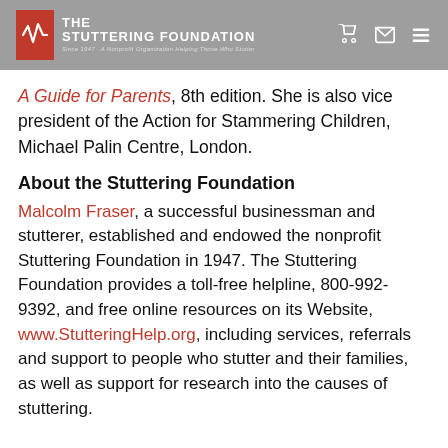The Stuttering Foundation — Since 1947 A Nonprofit Organization Helping Those Who Stutter
A Guide for Parents, 8th edition. She is also vice president of the Action for Stammering Children, Michael Palin Centre, London.
About the Stuttering Foundation
Malcolm Fraser, a successful businessman and stutterer, established and endowed the nonprofit Stuttering Foundation in 1947. The Stuttering Foundation provides a toll-free helpline, 800-992-9392, and free online resources on its Website, www.StutteringHelp.org, including services, referrals and support to people who stutter and their families, as well as support for research into the causes of stuttering.